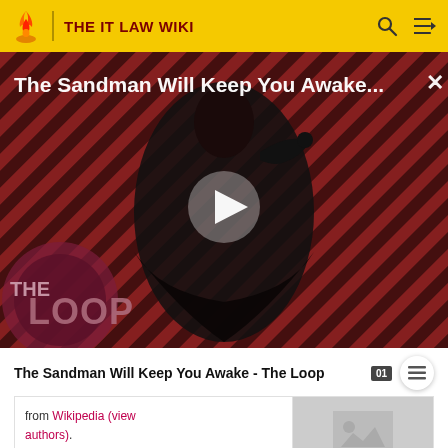THE IT LAW WIKI
[Figure (screenshot): Video thumbnail showing 'The Sandman Will Keep You Awake...' with a figure in black clothing against a diagonal red and dark stripe background. A play button is overlaid in the center. 'THE LOOP' logo appears in the bottom left.]
The Sandman Will Keep You Awake - The Loop
from Wikipedia (view authors).